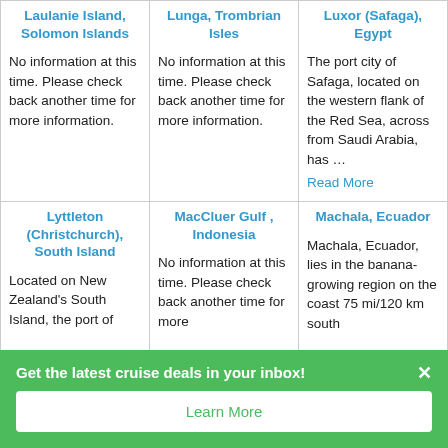| Location 1 | Location 2 | Location 3 |
| --- | --- | --- |
| Laulanie Island, Solomon Islands

No information at this time. Please check back another time for more information. | Lunga, Trombrian Isles

No information at this time. Please check back another time for more information. | Luxor (Safaga), Egypt

The port city of Safaga, located on the western flank of the Red Sea, across from Saudi Arabia, has ... Read More |
| Lyttleton (Christchurch), South Island

Located on New Zealand's South Island, the port of ... | MacCluer Gulf , Indonesia

No information at this time. Please check back another time for more ... | Machala, Ecuador

Machala, Ecuador, lies in the banana-growing region on the coast 75 mi/120 km south ... |
Get the latest cruise deals in your inbox!
Learn More